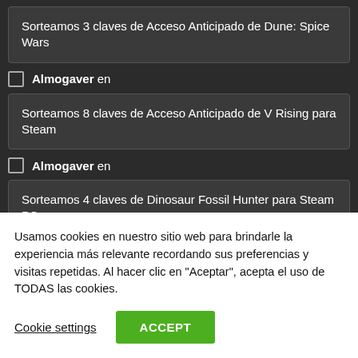Sorteamos 3 claves de Acceso Anticipado de Dune: Spice Wars
Almogaver en
Sorteamos 8 claves de Acceso Anticipado de V Rising para Steam
Almogaver en
Sorteamos 4 claves de Dinosaur Fossil Hunter para Steam PC
Usamos cookies en nuestro sitio web para brindarle la experiencia más relevante recordando sus preferencias y visitas repetidas. Al hacer clic en "Aceptar", acepta el uso de TODAS las cookies.
Cookie settings
ACCEPT